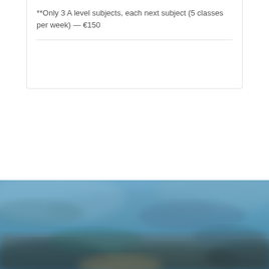**Only 3 A level subjects, each next subject (5 classes per week) — €150
[Figure (photo): Blurred outdoor photo with blue sky and landscape, appearing at the bottom of the page]